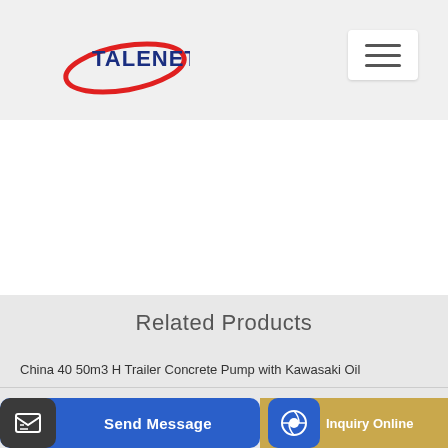[Figure (logo): TALENET company logo with red swoosh and blue bold text]
Related Products
China 40 50m3 H Trailer Concrete Pump with Kawasaki Oil
x tec concrete batching plant price in indonesia hzs120
Send Message
Inquiry Online